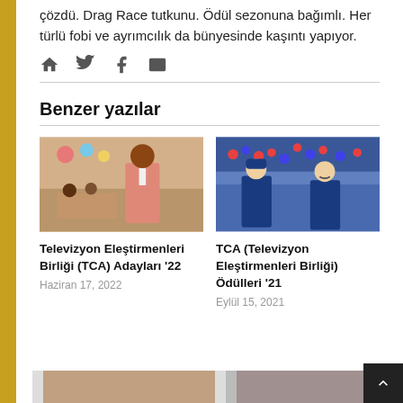çözdü. Drag Race tutkunu. Ödül sezonuna bağımlı. Her türlü fobi ve ayrımcılık da bünyesinde kaşıntı yapıyor.
[Figure (infographic): Social media icons: home, twitter, facebook, email]
Benzer yazılar
[Figure (photo): Photo of a woman in a classroom setting, wearing a pink dress with a lanyard badge, students visible in background]
Televizyon Eleştirmenleri Birliği (TCA) Adayları '22
Haziran 17, 2022
[Figure (photo): Photo of two men standing in a sports stadium crowd, wearing blue jackets, looking serious]
TCA (Televizyon Eleştirmenleri Birliği) Ödülleri '21
Eylül 15, 2021